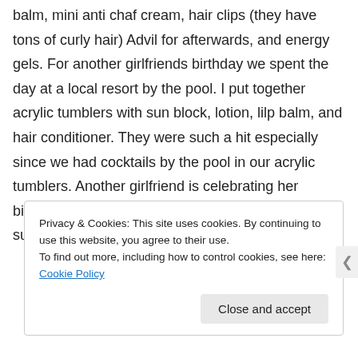balm, mini anti chaf cream, hair clips (they have tons of curly hair) Advil for afterwards, and energy gels. For another girlfriends birthday we spent the day at a local resort by the pool. I put together acrylic tumblers with sun block, lotion, lilp balm, and hair conditioner. They were such a hit especially since we had cocktails by the pool in our acrylic tumblers. Another girlfriend is celebrating her birthday at a vinyard. I am a little lost for suggestions. Any imput?
★ Like
Privacy & Cookies: This site uses cookies. By continuing to use this website, you agree to their use.
To find out more, including how to control cookies, see here: Cookie Policy
Close and accept